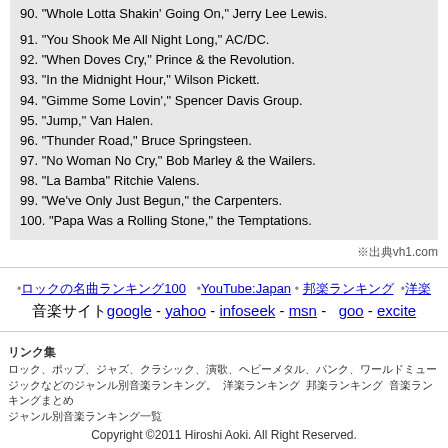90. "Whole Lotta Shakin' Going On," Jerry Lee Lewis.
91. "You Shook Me All Night Long," AC/DC.
92. "When Doves Cry," Prince & the Revolution.
93. "In the Midnight Hour," Wilson Pickett.
94. "Gimme Some Lovin'," Spencer Davis Group.
95. "Jump," Van Halen.
96. "Thunder Road," Bruce Springsteen.
97. "No Woman No Cry," Bob Marley & the Wailers.
98. "La Bamba" Ritchie Valens.
99. "We've Only Just Begun," the Carpenters.
100. "Papa Was a Rolling Stone," the Temptations.
※出典vh1.com
Copyright ©2011 Hiroshi Aoki. All Right Reserved.